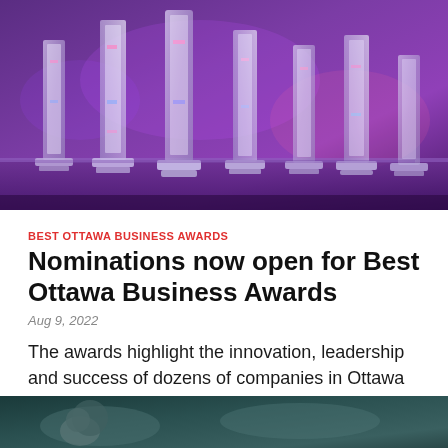[Figure (photo): Crystal award trophies displayed on a table under purple and pink event lighting, viewed from a slight angle showing multiple trophies in a row.]
BEST OTTAWA BUSINESS AWARDS
Nominations now open for Best Ottawa Business Awards
Aug 9, 2022
The awards highlight the innovation, leadership and success of dozens of companies in Ottawa and recognize organizations that are driving economic…
[Figure (photo): Partial view of a second article image, dark/teal background, partially cropped at the bottom of the page.]